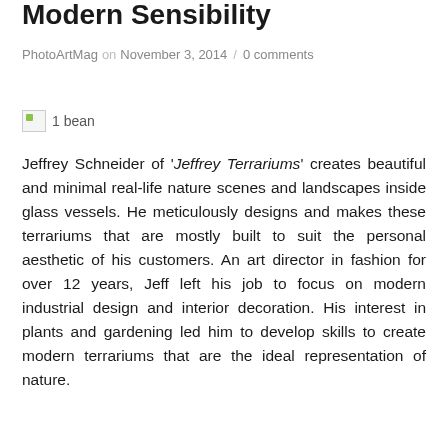Modern Sensibility
PhotoArtMag on November 3, 2014 / 0 comments
[Figure (other): Broken image placeholder labeled '1 bean']
Jeffrey Schneider of 'Jeffrey Terrariums' creates beautiful and minimal real-life nature scenes and landscapes inside glass vessels. He meticulously designs and makes these terrariums that are mostly built to suit the personal aesthetic of his customers. An art director in fashion for over 12 years, Jeff left his job to focus on modern industrial design and interior decoration. His interest in plants and gardening led him to develop skills to create modern terrariums that are the ideal representation of nature.